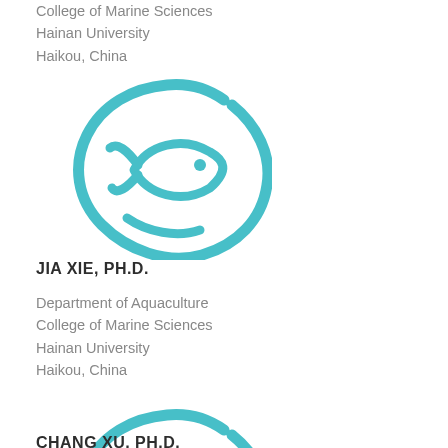College of Marine Sciences
Hainan University
Haikou, China
[Figure (logo): Circular fish/eye icon logo in teal blue color, depicting a stylized fish inside a curved C-shaped ring forming an eye shape]
JIA XIE, PH.D.
Department of Aquaculture
College of Marine Sciences
Hainan University
Haikou, China
[Figure (logo): Circular fish/eye icon logo in teal blue color, depicting a stylized fish inside a curved C-shaped ring forming an eye shape]
CHANG XU, PH.D.